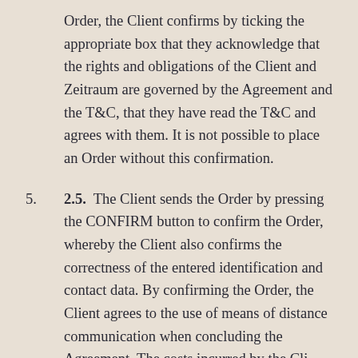Order, the Client confirms by ticking the appropriate box that they acknowledge that the rights and obligations of the Client and Zeitraum are governed by the Agreement and the T&C, that they have read the T&C and agrees with them. It is not possible to place an Order without this confirmation.
5. 2.5.  The Client sends the Order by pressing the CONFIRM button to confirm the Order, whereby the Client also confirms the correctness of the entered identification and contact data. By confirming the Order, the Client agrees to the use of means of distance communication when concluding the Agreement. The costs incurred by the Client when using means of distance